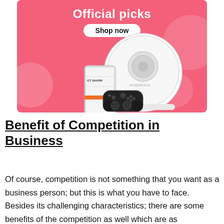[Figure (infographic): Pink advertisement banner with 'Official picks' title, 'Shop now' button, and product images including a robot vacuum, gaming console, and game controller]
Benefit of Competition in Business
Of course, competition is not something that you want as a business person; but this is what you have to face. Besides its challenging characteristics; there are some benefits of the competition as well which are as